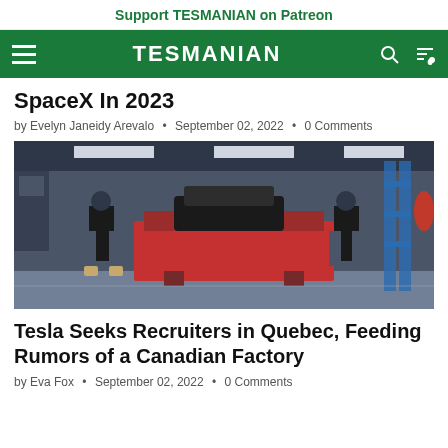Support TESMANIAN on Patreon
TESMANIAN
SpaceX In 2023
by Evelyn Janeidy Arevalo • September 02, 2022 • 0 Comments
[Figure (photo): Factory floor with two workers in black clothing assembling Tesla vehicle components on a red assembly platform surrounded by industrial equipment and blue scaffolding]
Tesla Seeks Recruiters in Quebec, Feeding Rumors of a Canadian Factory
by Eva Fox • September 02, 2022 • 0 Comments